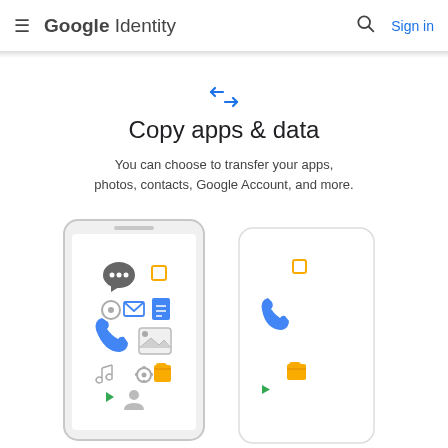Google Identity | Sign in
[Figure (illustration): Two opposing arrows icon in blue indicating transfer/sync]
Copy apps & data
You can choose to transfer your apps, photos, contacts, Google Account, and more.
[Figure (illustration): Two smartphones side by side: source phone (gray border) full of app icons (chat bubbles, mail, document, phone, photo, music, settings, folder icons), and destination phone (white border) showing icons being transferred (folder, phone, folder icons appearing)]